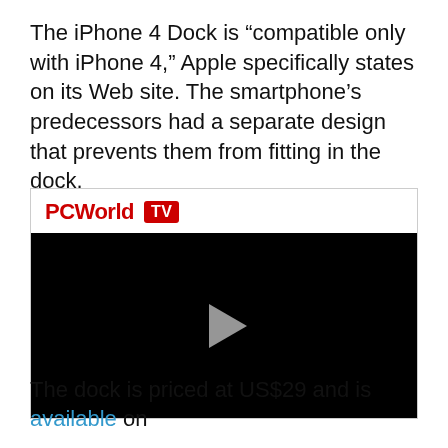The iPhone 4 Dock is “compatible only with iPhone 4,” Apple specifically states on its Web site. The smartphone’s predecessors had a separate design that prevents them from fitting in the dock.
[Figure (screenshot): PCWorld TV video player with black screen and play button]
The dock is priced at US$29 and is available on